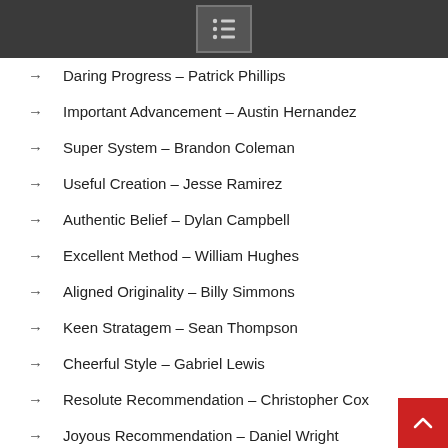Navigation menu icon
Daring Progress – Patrick Phillips
Important Advancement – Austin Hernandez
Super System – Brandon Coleman
Useful Creation – Jesse Ramirez
Authentic Belief – Dylan Campbell
Excellent Method – William Hughes
Aligned Originality – Billy Simmons
Keen Stratagem – Sean Thompson
Cheerful Style – Gabriel Lewis
Resolute Recommendation – Christopher Cox
Joyous Recommendation – Daniel Wright
Vigorous Methods – Russell Smith
Reliable Structure – Ralph Adams